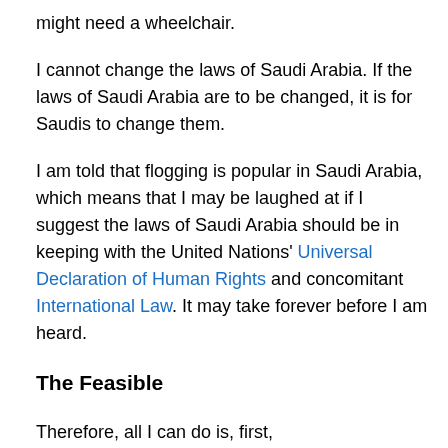might need a wheelchair.
I cannot change the laws of Saudi Arabia. If the laws of Saudi Arabia are to be changed, it is for Saudis to change them.
I am told that flogging is popular in Saudi Arabia, which means that I may be laughed at if I suggest the laws of Saudi Arabia should be in keeping with the United Nations' Universal Declaration of Human Rights and concomitant International Law. It may take forever before I am heard.
The Feasible
Therefore, all I can do is, first,
offer my sympathies to the royal family. King Abdullah